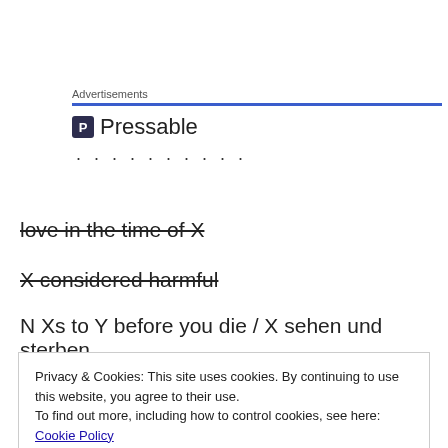[Figure (screenshot): Advertisements section with Pressable logo (blue P icon) and dotted line below]
love in the time of X
X considered harmful
N Xs to Y before you die / X sehen und sterben
Privacy & Cookies: This site uses cookies. By continuing to use this website, you agree to their use.
To find out more, including how to control cookies, see here: Cookie Policy